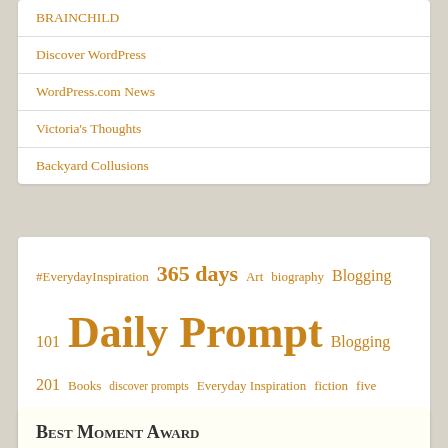BRAINCHILD
Discover WordPress
WordPress.com News
Victoria's Thoughts
Backyard Collusions
#EverydayInspiration 365 days Art biography Blogging 101 Blogging 201 Books Daily Prompt discover prompts Everyday Inspiration fiction five sentence fiction intropoetry limerick me merriment Mind and life matters limerick challenge Week 20 Music NaBloPoMo Poetry school song speakeasy story Travel Uncategorized writing Writing 101 writing 201: poetry writing intro to poetry
Best Moment Award